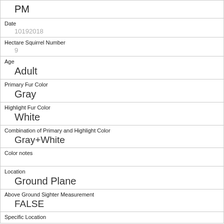| PM |
| Date
10192018 |
| Hectare Squirrel Number
9 |
| Age
Adult |
| Primary Fur Color
Gray |
| Highlight Fur Color
White |
| Combination of Primary and Highlight Color
Gray+White |
| Color notes
 |
| Location
Ground Plane |
| Above Ground Sighter Measurement
FALSE |
| Specific Location |